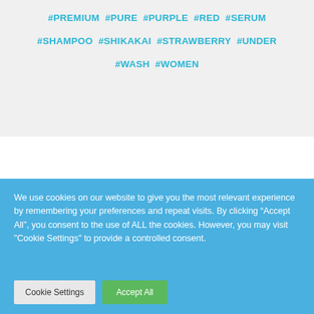#PREMIUM #PURE #PURPLE #RED #SERUM #SHAMPOO #SHIKAKAI #STRAWBERRY #UNDER #WASH #WOMEN
We use cookies on our website to give you the most relevant experience by remembering your preferences and repeat visits. By clicking “Accept All”, you consent to the use of ALL the cookies. However, you may visit "Cookie Settings" to provide a controlled consent.
Cookie Settings | Accept All